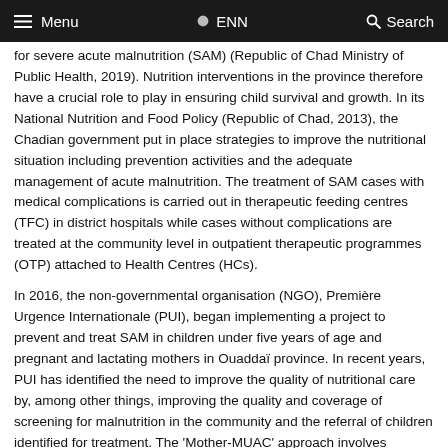Menu  ENN  Search
for severe acute malnutrition (SAM) (Republic of Chad Ministry of Public Health, 2019). Nutrition interventions in the province therefore have a crucial role to play in ensuring child survival and growth. In its National Nutrition and Food Policy (Republic of Chad, 2013), the Chadian government put in place strategies to improve the nutritional situation including prevention activities and the adequate management of acute malnutrition. The treatment of SAM cases with medical complications is carried out in therapeutic feeding centres (TFC) in district hospitals while cases without complications are treated at the community level in outpatient therapeutic programmes (OTP) attached to Health Centres (HCs).
In 2016, the non-governmental organisation (NGO), Première Urgence Internationale (PUI), began implementing a project to prevent and treat SAM in children under five years of age and pregnant and lactating mothers in Ouaddaï province. In recent years, PUI has identified the need to improve the quality of nutritional care by, among other things, improving the quality and coverage of screening for malnutrition in the community and the referral of children identified for treatment. The 'Mother-MUAC' approach involves mothers screening their own children for signs of acute malnutrition using mid-upper arm circumference (MUAC) tapes. The